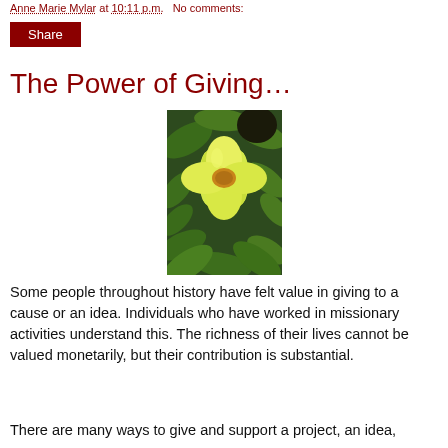Anne Marie Mylar at 10:11 p.m.   No comments:
Share
The Power of Giving…
[Figure (photo): A large yellow flower with five rounded petals and green leaves in the background]
Some people throughout history have felt value in giving to a cause or an idea. Individuals who have worked in missionary activities understand this. The richness of their lives cannot be valued monetarily, but their contribution is substantial.
There are many ways to give and support a project, an idea,